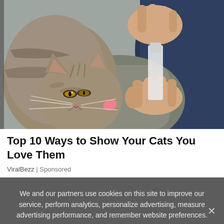[Figure (photo): A tabby cat licking or nibbling from a small bottle held by a person's hands. The person is wearing a grey long-sleeve shirt. Close-up photo with soft background.]
Top 10 Ways to Show Your Cats You Love Them
ViralBezz | Sponsored
We and our partners use cookies on this site to improve our service, perform analytics, personalize advertising, measure advertising performance, and remember website preferences.
Ok